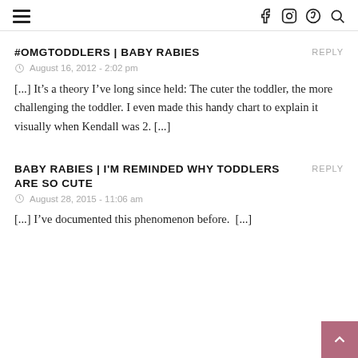Navigation header with hamburger menu and social icons (f, Instagram, Pinterest, Search)
#OMGTODDLERS | BABY RABIES
August 16, 2012 - 2:02 pm
[...] It’s a theory I’ve long since held: The cuter the toddler, the more challenging the toddler. I even made this handy chart to explain it visually when Kendall was 2. [...]
BABY RABIES | I'M REMINDED WHY TODDLERS ARE SO CUTE
August 28, 2015 - 11:06 am
[...] I’ve documented this phenomenon before.  [...]